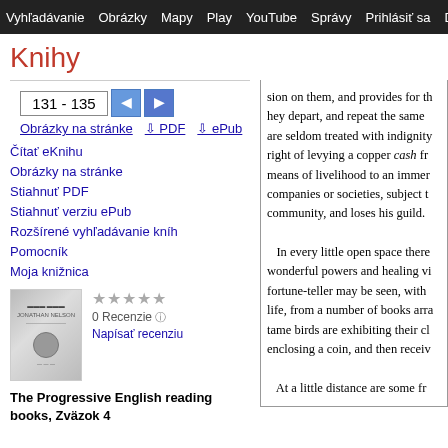Vyhľadávanie  Obrázky  Mapy  Play  YouTube  Správy  Prihlásiť sa  Dis  D
Knihy
131 - 135
Obrázky na stránke  ↓ PDF  ↓ ePub
Čítať eKnihu
Obrázky na stránke
Stiahnuť PDF
Stiahnuť verziu ePub
Rozšírené vyhľadávanie kníh
Pomocník
Moja knižnica
0 Recenzie
Napísať recenziu
The Progressive English reading books, Zväzok 4
sion on them, and provides for th hey depart, and repeat the same are seldom treated with indignity right of levying a copper cash fr means of livelihood to an immer companies or societies, subject t community, and loses his guild.

In every little open space there wonderful powers and healing vi fortune-teller may be seen, with life, from a number of books arra tame birds are exhibiting their cl enclosing a coin, and then receiv

At a little distance are some fr